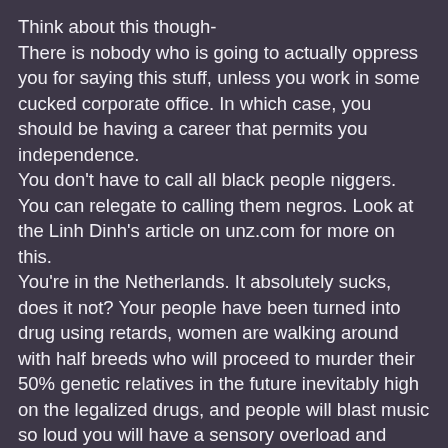Think about this though- There is nobody who is going to actually oppress you for saying this stuff, unless you work in some cucked corporate office. In which case, you should be having a career that permits you independence. You don't have to call all black people niggers. You can relegate to calling them negros. Look at the Linh Dinh's article on unz.com for more on this. You're in the Netherlands. It absolutely sucks, does it not? Your people have been turned into drug using retards, women are walking around with half breeds who will proceed to murder their 50% genetic relatives in the future inevitably high on the legalized drugs, and people will blast music so loud you will have a sensory overload and *snap* and discuss all the things you just gave up discussing right now. I moved out of a 70% black city to attend college in a 2% black city. And guess what? The few negros here will still blast music you can hear blocks away – and they literally do this from the "diversity building" which is an old house on the historical preservation list that the college has renovated for offices for